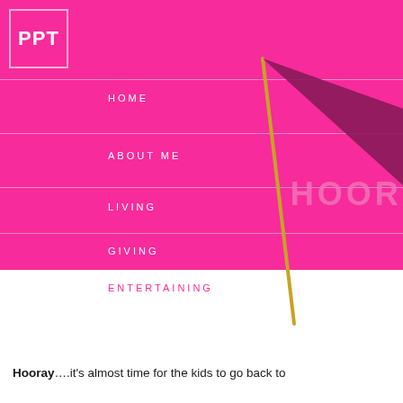[Figure (logo): PPT logo in white text inside a pink-bordered square box on pink background]
HOME
ABOUT ME
LIVING
GIVING
ENTERTAINING
[Figure (illustration): A deep pink/magenta pennant flag on a gold pole with the word HOORAY on it, overlaying the pink navigation section and extending into the white area below]
Hooray….it's almost time for the kids to go back to